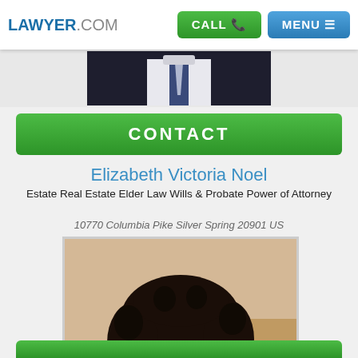LAWYER.COM
[Figure (photo): Partial photo of a person in suit and tie, cropped at top]
CONTACT
Elizabeth Victoria Noel
Estate Real Estate Elder Law Wills & Probate Power of Attorney
10770 Columbia Pike Silver Spring 20901 US
[Figure (photo): Portrait photo of Elizabeth Victoria Noel, a woman with natural curly hair and glasses, wearing a light blue shirt]
[Figure (other): Bottom green bar partial]